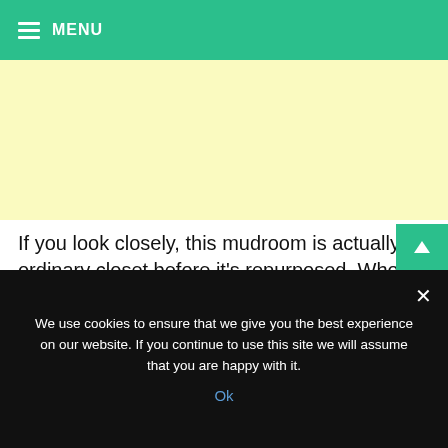MENU
[Figure (other): Yellow advertisement banner placeholder area]
If you look closely, this mudroom is actually an ordinary closet before it's repurposed. Who'd expect that a closet could be the most comfortable mudroom space. It's one of the clever mudroom ideas to have in your entry way. I think adding the pillows would give significant impact for the
We use cookies to ensure that we give you the best experience on our website. If you continue to use this site we will assume that you are happy with it.